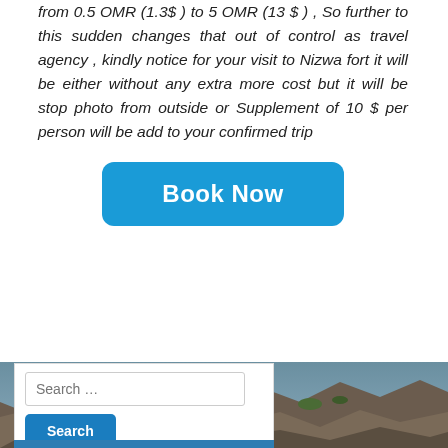from 0.5 OMR (1.3$ ) to 5 OMR (13 $ ) , So further to this sudden changes that out of control as travel agency , kindly notice for your visit to Nizwa fort it will be either without any extra more cost but it will be stop photo from outside or Supplement of 10 $ per person will be add to your confirmed trip
[Figure (other): Blue 'Book Now' button with rounded corners]
[Figure (photo): Rocky mountain terrain landscape photo background]
Search ...
Search
Recommended By
[Figure (logo): TripAdvisor logo with owl icon]